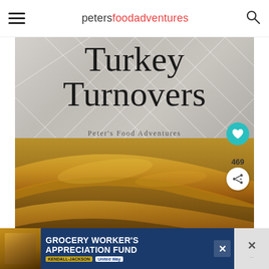petersfoodadventures
[Figure (photo): Turkey Turnovers recipe hero image showing golden baked pastry turnovers on a light background, with marble tile backdrop and blog title overlay]
TURKEY TURNOVERS
Peter's Food Adventures
[Figure (infographic): Grocery Worker's Appreciation Fund ad banner with Kendall Jackson and United Way logos]